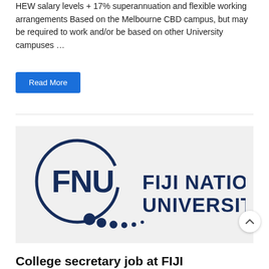HEW salary levels + 17% superannuation and flexible working arrangements Based on the Melbourne CBD campus, but may be required to work and/or be based on other University campuses …
Read More
[Figure (logo): Fiji National University (FNU) logo: circular graphic with 'FNU' letters and dots, next to bold text reading 'FIJI NATIONAL UNIVERSITY']
College secretary job at FIJI